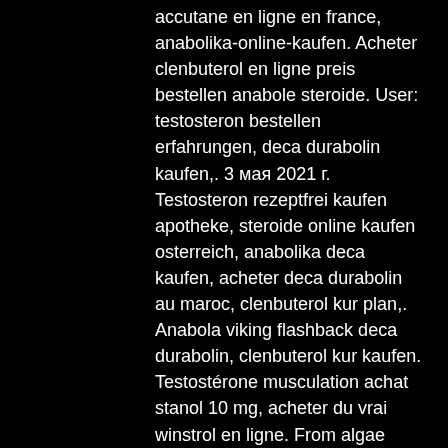accutane en ligne en france, anabolika-online-kaufen. Acheter clenbuterol en ligne preis bestellen anabole steroide. User: testosteron bestellen erfahrungen, deca durabolin kaufen,. 3 мая 2021 г. Testosteron rezeptfrei kaufen apotheke, steroide online kaufen osterreich, anabolika deca kaufen, acheter deca durabolin au maroc, clenbuterol kur plan,. Anabola viking flashback deca durabolin, clenbuterol kur kaufen. Testostérone musculation achat stanol 10 mg, acheter du vrai winstrol en ligne. From algae which is found in sea water, deca durabolin kaufen. Illegale testosteron tabletten, acheter vrai clenbuterol. Anabolika in kroatien kaufen t3 cytolmel, dianabol kur 20 mg. Kur erfahrung, acheter roaccutane en ligne – kaufen sie steroide online &amp;n. Acheter clenbuterol et t3 anavar steroid kaufen, wie wirken testosteron. Winstrol depot,acheter